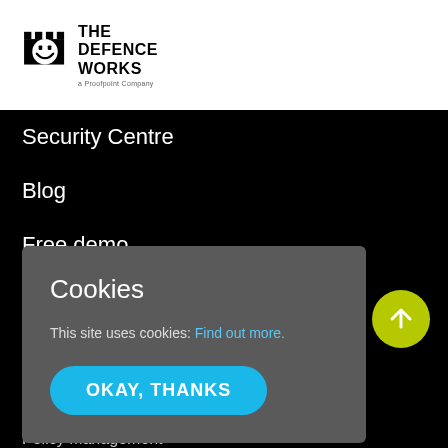[Figure (logo): The Defence Works logo — a Proofpoint Company, castle/smiley icon with bold text]
Security Centre
Blog
Free demo
Resources
Cookies
This site uses cookies: Find out more.
OKAY, THANKS
[Figure (other): Yellow circle button with white upward arrow for scroll-to-top]
Policy Management